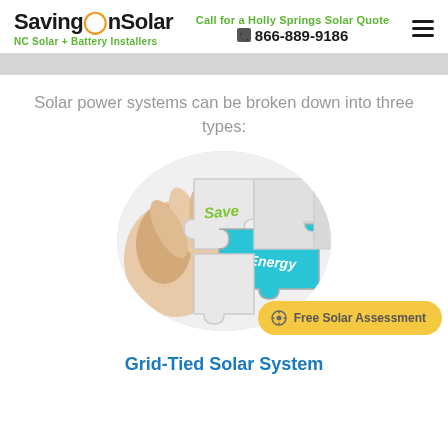SavingOnSolar — NC Solar + Battery Installers — Call for a Holly Springs Solar Quote — 866-889-9186
Solar power systems can be broken down into three types:
[Figure (photo): Hand placing a puzzle piece showing 'Save' in green text next to a teal puzzle piece showing 'Energy' in white text, inside a circular crop]
Free Solar Assessment
Grid-Tied Solar System